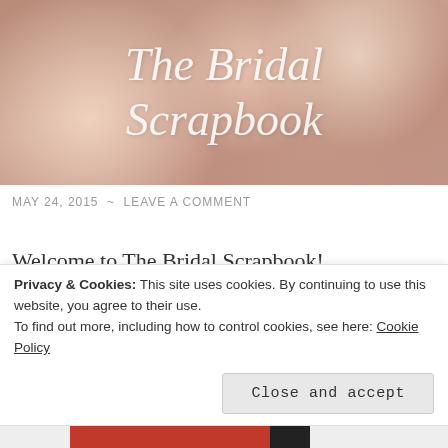[Figure (photo): Decorative blog banner header image with a warm pinkish-rose bokeh background and the italic serif text 'The Bridal Scrapbook' in white]
MAY 24, 2015 ~ LEAVE A COMMENT
Welcome to The Bridal Scrapbook!
An online scrapbook of inspiration designed to help draw fresh ideas for future brides and to make
Privacy & Cookies: This site uses cookies. By continuing to use this website, you agree to their use.
To find out more, including how to control cookies, see here: Cookie Policy
Close and accept